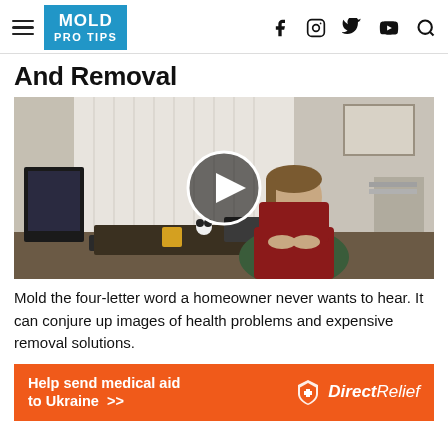MOLD PRO TIPS
And Removal
[Figure (photo): Video thumbnail showing a man in a green jacket sitting at a desk in an office, with a play button overlay in the center]
Mold the four-letter word a homeowner never wants to hear. It can conjure up images of health problems and expensive removal solutions.
[Figure (infographic): Orange advertisement banner reading 'Help send medical aid to Ukraine >>' with Direct Relief logo on the right]